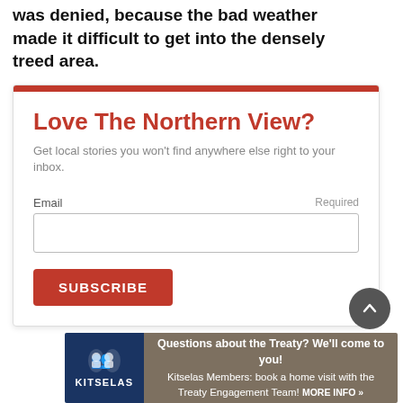was denied, because the bad weather made it difficult to get into the densely treed area.
Love The Northern View?
Get local stories you won't find anywhere else right to your inbox.
Email  Required
[Figure (screenshot): Email subscription form with a text input field and a red SUBSCRIBE button]
[Figure (infographic): Kitselas Treaty Information Source advertisement banner: 'Questions about the Treaty? We'll come to you! Kitselas Members: book a home visit with the Treaty Engagement Team! MORE INFO »']